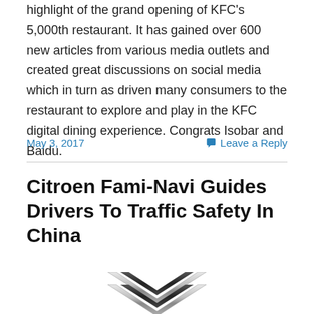highlight of the grand opening of KFC's 5,000th restaurant. It has gained over 600 new articles from various media outlets and created great discussions on social media which in turn as driven many consumers to the restaurant to explore and play in the KFC digital dining experience. Congrats Isobar and Baidu.
May 3, 2017
Leave a Reply
Citroen Fami-Navi Guides Drivers To Traffic Safety In China
[Figure (logo): Citroen double chevron logo, silver metallic, partially visible at bottom of page]